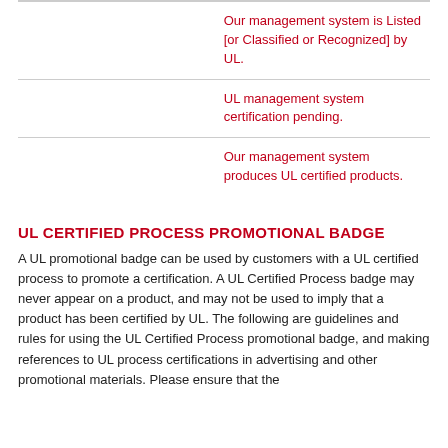|  |  |
| --- | --- |
|  | Our management system is Listed [or Classified or Recognized] by UL. |
|  | UL management system certification pending. |
|  | Our management system produces UL certified products. |
UL CERTIFIED PROCESS PROMOTIONAL BADGE
A UL promotional badge can be used by customers with a UL certified process to promote a certification. A UL Certified Process badge may never appear on a product, and may not be used to imply that a product has been certified by UL. The following are guidelines and rules for using the UL Certified Process promotional badge, and making references to UL process certifications in advertising and other promotional materials. Please ensure that the